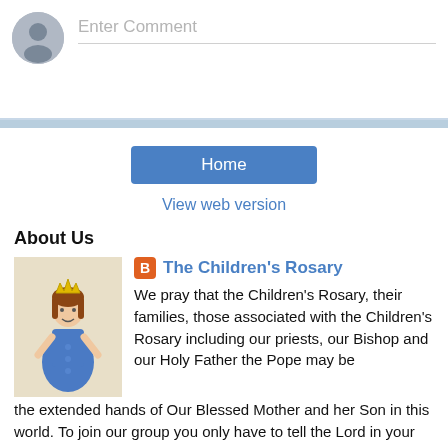Enter Comment
Home
View web version
About Us
The Children's Rosary
[Figure (illustration): Child's drawing of a girl in a blue dress with a crown]
We pray that the Children's Rosary, their families, those associated with the Children's Rosary including our priests, our Bishop and our Holy Father the Pope may be the extended hands of Our Blessed Mother and her Son in this world. To join our group you only have to tell the Lord in your heart of your desire to join us. You then will be included in all of our rosaries and prayers said daily. To send us prayer petitions email: contactchildrensrosary@gmail.com The children have two prayer initiatives this year. They are continuing to pray for renewal of family prayer, an intitiative which began last year. They are also praying in